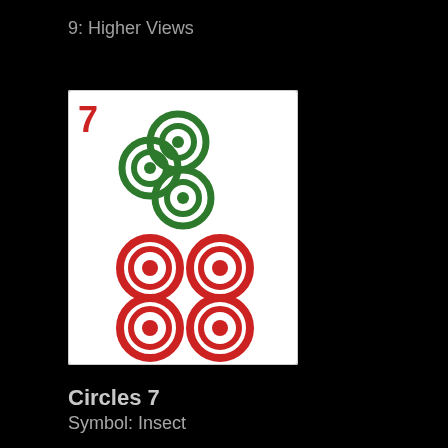9: Higher Views
[Figure (illustration): A playing card or tile with a white background. In the top-left corner is a red number '7'. There are three green concentric-circle targets arranged diagonally from upper-center to lower-left, and four red concentric-circle targets arranged in a 2x2 grid in the lower portion of the card.]
Circles 7
Symbol: Insect
The Insect tile indicates short-term gain through a short flurry of hectic work. It is important to realize that the gains the Insect tile offers are not lasting, or of long-term importance. At